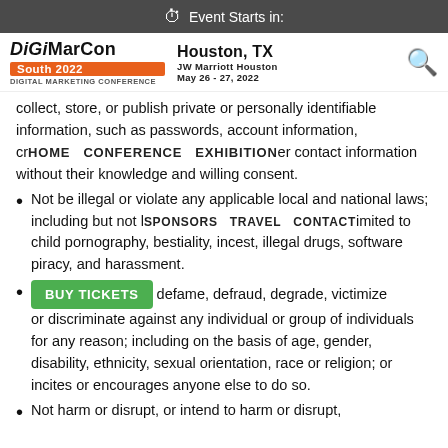Event Starts in:
[Figure (logo): DigiMarCon South 2022 Digital Marketing Conference logo with venue info: Houston, TX, JW Marriott Houston, May 26-27, 2022]
collect, store, or publish private or personally identifiable information, such as passwords, account information, credit card numbers, addresses, or other contact information without their knowledge and willing consent.
Not be illegal or violate any applicable local and national laws; including but not limited to child pornography, bestiality, incest, illegal drugs, software piracy, and harassment.
Harass, defame, defraud, degrade, victimize or discriminate against any individual or group of individuals for any reason; including on the basis of age, gender, disability, ethnicity, sexual orientation, race or religion; or incites or encourages anyone else to do so.
Not harm or disrupt, or intend to harm or disrupt,